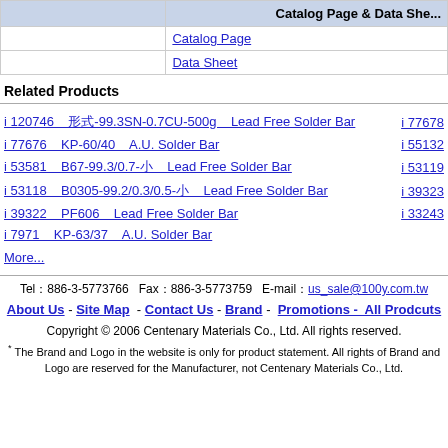|  | Catalog Page & Data She... |
| --- | --- |
|  | Catalog Page |
|  | Data Sheet |
Related Products
i 120746   ①②③④⑤-99.3SN-0.7CU-500g   Lead Free Solder Bar
i 77676   KP-60/40   A.U. Solder Bar
i 53581   B67-99.3/0.7-種   Lead Free Solder Bar
i 53118   B0305-99.2/0.3/0.5-種   Lead Free Solder Bar
i 39322   PF606   Lead Free Solder Bar
i 7971   KP-63/37   A.U. Solder Bar
i 77678
i 55132
i 53119
i 39323
i 33243
More...
Tel：886-3-5773766  Fax：886-3-5773759  E-mail： us_sale@100y.com.tw
About Us - Site Map - Contact Us - Brand - Promotions - All Prodcuts
Copyright © 2006 Centenary Materials Co., Ltd. All rights reserved.
* The Brand and Logo in the website is only for product statement. All rights of Brand and Logo are reserved for the Manufacturer, not Centenary Materials Co., Ltd.